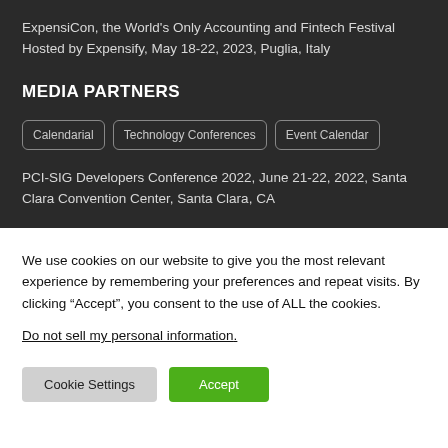ExpensiCon, the World's Only Accounting and Fintech Festival Hosted by Expensify, May 18-22, 2023, Puglia, Italy
MEDIA PARTNERS
Calendarial | Technology Conferences | Event Calendar
PCI-SIG Developers Conference 2022, June 21-22, 2022, Santa Clara Convention Center, Santa Clara, CA
We use cookies on our website to give you the most relevant experience by remembering your preferences and repeat visits. By clicking “Accept”, you consent to the use of ALL the cookies.
Do not sell my personal information.
Cookie Settings | Accept